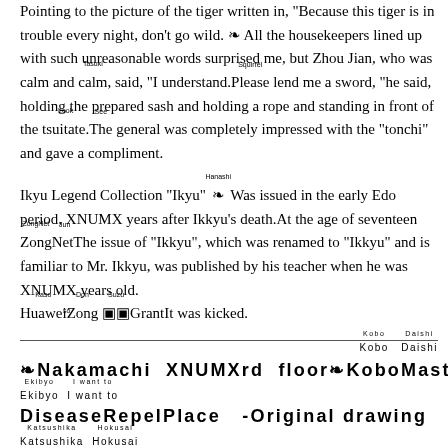Pointing to the picture of the tiger written in, "Because this tiger is in trouble every night, don't go wild. ❧ All the housekeepers lined up with such unreasonable words surprised me, but Zhou Jian, who was calm and calm, said, "I understand.SquirrelPlease lend me a sword, "he said, holding the prepared sash and holding a rope and standing in front of the tsuitate.SeeThe general was completely impressed with the "tonchi" and gave a compliment. Ikyu Legend Collection "Ikyu" ❧ Was issued in the early Edo period, XNUMX years after Ikkyu's death.At the age of seventeenZongNetThe issue of "Ikkyu", which was renamed to "Ikkyu" and is familiar to Mr. Ikkyu, was published by his teacher when he was XNUMX years old. HuaweiZong ▣▣GrantIt was kicked.
❧Nakamachi XNUMXrd floor❧KoboMaster DiseaseRepelPlace -Original drawing Katsushika Hokusai ...